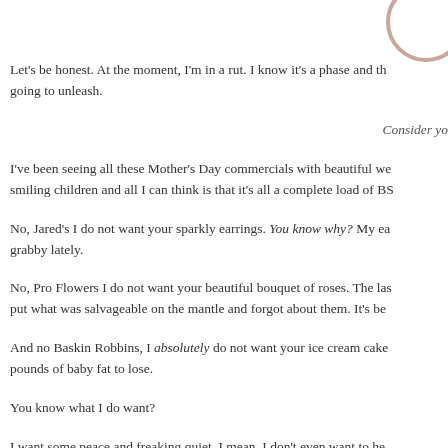[Figure (illustration): Partial circle/ring decoration in salmon/rose color in top-right corner]
Let's be honest. At the moment, I'm in a rut. I know it's a phase and th going to unleash.
Consider yo
I've been seeing all these Mother's Day commercials with beautiful we smiling children and all I can think is that it's all a complete load of BS
No, Jared's I do not want your sparkly earrings. You know why? My ea grabby lately.
No, Pro Flowers I do not want your beautiful bouquet of roses. The las put what was salvageable on the mantle and forgot about them. It's be
And no Baskin Robbins, I absolutely do not want your ice cream cake pounds of baby fat to lose.
You know what I do want?
I want some peace and freaking quiet. I mean, I don't even want to he
I'd like to avoid baby screams, dog barking and incessant toddler que